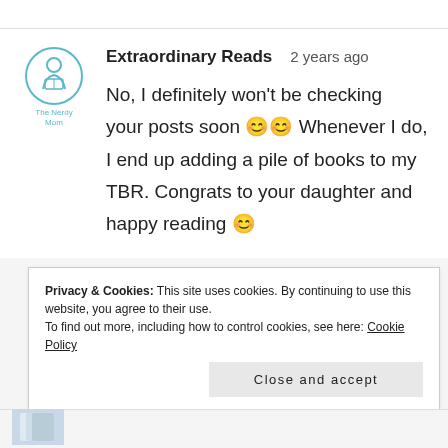[Figure (logo): The Nerdy Mom blog logo - circular icon with reading figure, teal/blue color, text 'The Nerdy Mom' below]
Extraordinary Reads    2 years ago
No, I definitely won't be checking your posts soon 😊😊 Whenever I do, I end up adding a pile of books to my TBR. Congrats to your daughter and happy reading 😊
Privacy & Cookies: This site uses cookies. By continuing to use this website, you agree to their use.
To find out more, including how to control cookies, see here: Cookie Policy
Close and accept